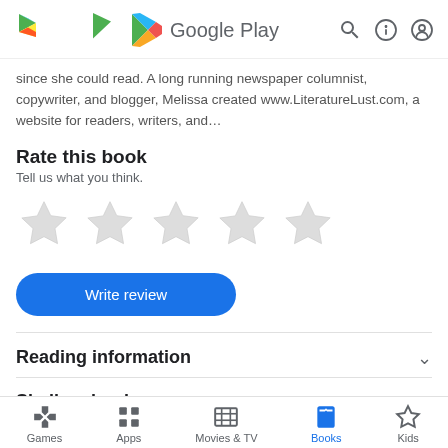Google Play
since she could read. A long running newspaper columnist, copywriter, and blogger, Melissa created www.LiteratureLust.com, a website for readers, writers, and…
Rate this book
Tell us what you think.
[Figure (other): Five empty star rating icons in a row]
Write review
Reading information
Similar ebooks
Games  Apps  Movies & TV  Books  Kids